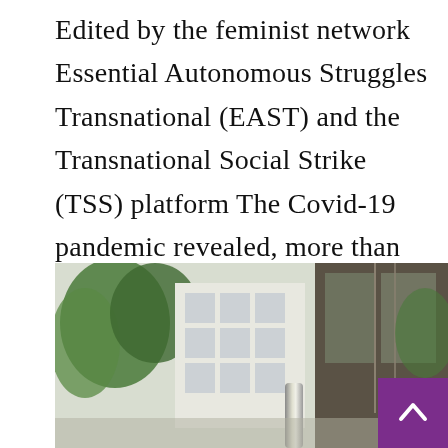Edited by the feminist network Essential Autonomous Struggles Transnational (EAST) and the Transnational Social Strike (TSS) platform The Covid-19 pandemic revealed, more than anything, the deep interconnectedness and mutual dependencies that exist between different countries in Europe and beyond, and ...
[Figure (photo): Outdoor urban/building photograph showing trees, buildings with glass balconies and urban architecture, partially visible, with a purple button with upward chevron arrow overlay in the bottom right corner.]